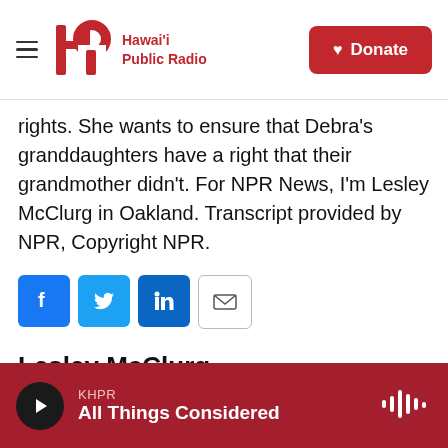Hawai'i Public Radio | Donate
rights. She wants to ensure that Debra's granddaughters have a right that their grandmother didn't. For NPR News, I'm Lesley McClurg in Oakland. Transcript provided by NPR, Copyright NPR.
[Figure (infographic): Social share buttons: Facebook, Twitter, LinkedIn, Email]
Lesley McClurg
KHPR All Things Considered